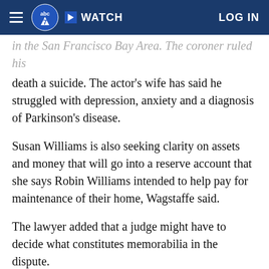abc7 WATCH LOG IN
death a suicide. The actor's wife has said he struggled with depression, anxiety and a diagnosis of Parkinson's disease.
Susan Williams is also seeking clarity on assets and money that will go into a reserve account that she says Robin Williams intended to help pay for maintenance of their home, Wagstaffe said.
The lawyer added that a judge might have to decide what constitutes memorabilia in the dispute.
Andrew Bassak, an attorney for trustees overseeing the estate, argued that the court does not have